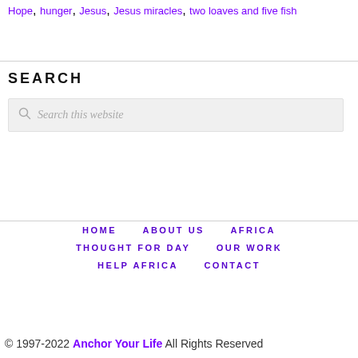Hope, hunger, Jesus, Jesus miracles, two loaves and five fish
SEARCH
Search this website
HOME   ABOUT US   AFRICA   THOUGHT FOR DAY   OUR WORK   HELP AFRICA   CONTACT
© 1997-2022 Anchor Your Life All Rights Reserved